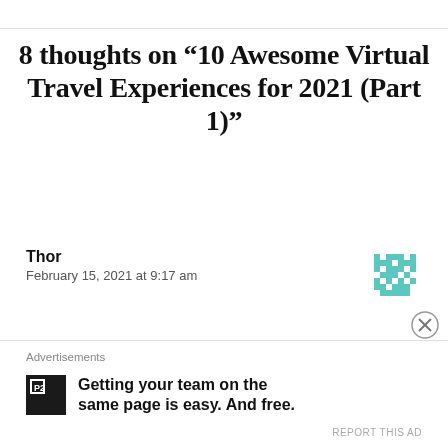8 thoughts on “10 Awesome Virtual Travel Experiences for 2021 (Part 1)”
Thor
February 15, 2021 at 9:17 am
Fabulous information Rebecca. Thank you for your imaginative, fun and currently appropriate and useful information. I will have to experience the Prague Plague tour
Advertisements
Getting your team on the same page is easy. And free.